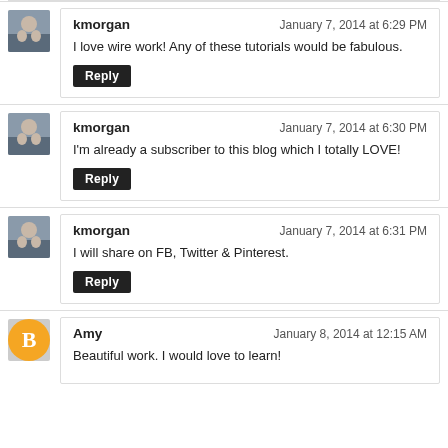kmorgan — January 7, 2014 at 6:29 PM
I love wire work! Any of these tutorials would be fabulous.
[Reply]
kmorgan — January 7, 2014 at 6:30 PM
I'm already a subscriber to this blog which I totally LOVE!
[Reply]
kmorgan — January 7, 2014 at 6:31 PM
I will share on FB, Twitter & Pinterest.
[Reply]
Amy — January 8, 2014 at 12:15 AM
Beautiful work. I would love to learn!